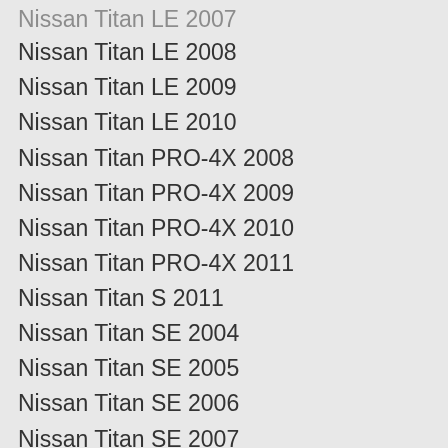Nissan Titan LE 2007
Nissan Titan LE 2008
Nissan Titan LE 2009
Nissan Titan LE 2010
Nissan Titan PRO-4X 2008
Nissan Titan PRO-4X 2009
Nissan Titan PRO-4X 2010
Nissan Titan PRO-4X 2011
Nissan Titan S 2011
Nissan Titan SE 2004
Nissan Titan SE 2005
Nissan Titan SE 2006
Nissan Titan SE 2007
Nissan Titan SE 2008
Nissan Titan SE 2009
Nissan Titan SE 2010
Nissan Titan SL 2011
Nissan Titan SV 2011
Nissan Titan XE 2004
Nissan Titan XE 2005